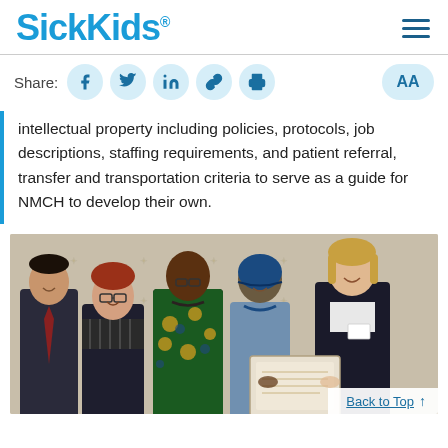SickKids
intellectual property including policies, protocols, job descriptions, staffing requirements, and patient referral, transfer and transportation criteria to serve as a guide for NMCH to develop their own.
[Figure (photo): Group photo of five people standing in front of a backdrop with logos. From left to right: a young man in a dark suit with a red tie, a woman with short red hair and glasses in a dark jacket, a woman in a colorful African print dress, a woman in a blue headwrap and grey-blue outfit, and a tall blonde woman in a dark blazer holding a name badge. The women in the center are holding a framed certificate or award.]
Back to Top ↑